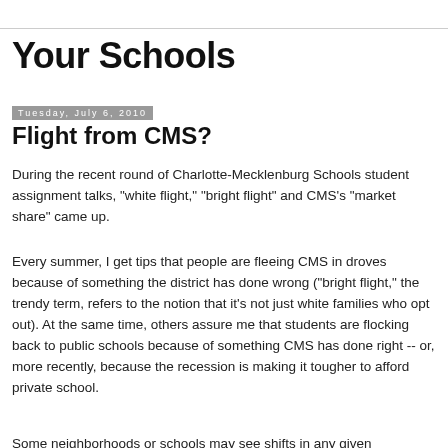Your Schools
Tuesday, July 6, 2010
Flight from CMS?
During the recent round of Charlotte-Mecklenburg Schools student assignment talks, "white flight," "bright flight" and CMS's "market share" came up.
Every summer, I get tips that people are fleeing CMS in droves because of something the district has done wrong ("bright flight," the trendy term, refers to the notion that it's not just white families who opt out). At the same time, others assure me that students are flocking back to public schools because of something CMS has done right -- or, more recently, because the recession is making it tougher to afford private school.
Some neighborhoods or schools may see shifts in any given